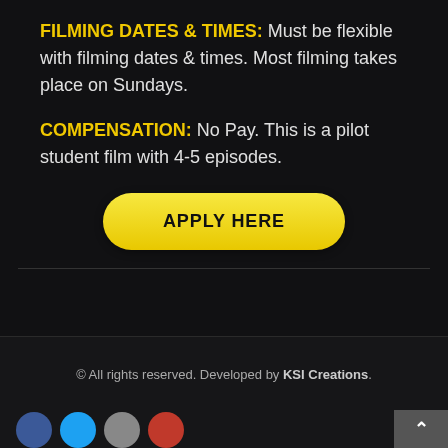FILMING DATES & TIMES: Must be flexible with filming dates & times.  Most filming takes place on Sundays.
COMPENSATION: No Pay. This is a pilot student film with 4-5 episodes.
[Figure (other): Yellow rounded button labeled APPLY HERE]
© All rights reserved. Developed by KSI Creations.